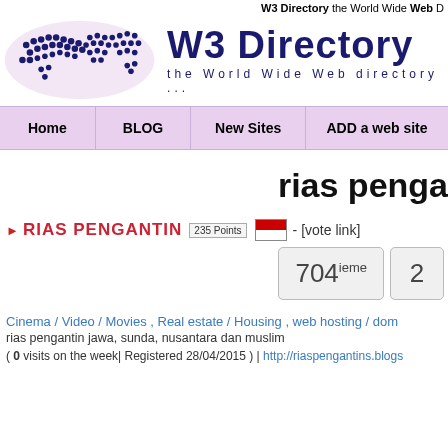W3 Directory the World Wide Web D
[Figure (logo): W3 Directory logo with world map made of dots and text 'W3 Directory the World Wide Web directory ...']
| Home | BLOG | New Sites | ADD a web site |
| --- | --- | --- | --- |
rias penga
RIAS PENGANTIN 235 Points [flag] - [vote link]
704ieme
Cinema / Video / Movies , Real estate / Housing , web hosting / dom
rias pengantin jawa, sunda, nusantara dan muslim
( 0 visits on the week| Registered 28/04/2015 ) | http://riaspengantins.blogs